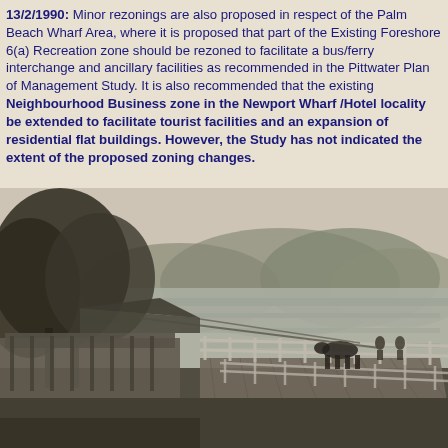13/2/1990: Minor rezonings are also proposed in respect of the Palm Beach Wharf Area, where it is proposed that part of the Existing Foreshore 6(a) Recreation zone should be rezoned to facilitate a bus/ferry interchange and ancillary facilities as recommended in the Pittwater Plan of Management Study. It is also recommended that the existing Neighbourhood Business zone in the Newport Wharf /Hotel locality be extended to facilitate tourist facilities and an expansion of residential flat buildings. However, the Study has not indicated the extent of the proposed zoning changes.
[Figure (photo): Black and white historical photograph of a wharf area, likely Newport or Palm Beach Wharf, showing a waterfront scene with a wooden pier/walkway with white fencing, buildings with verandas on the left, large trees, a body of water in the background, and hills covered with trees in the distance. People and horses can be seen on the wharf.]